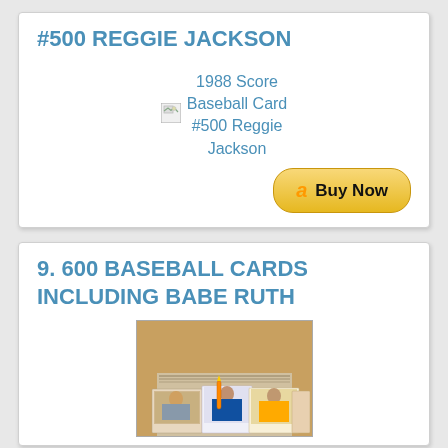#500 REGGIE JACKSON
[Figure (photo): Broken image placeholder for 1988 Score Baseball Card #500 Reggie Jackson]
1988 Score Baseball Card #500 Reggie Jackson
[Figure (other): Amazon Buy Now button]
9. 600 BASEBALL CARDS INCLUDING BABE RUTH
[Figure (photo): Photo of a collection of baseball cards, stacked and fanned out showing several cards including vintage baseball cards]